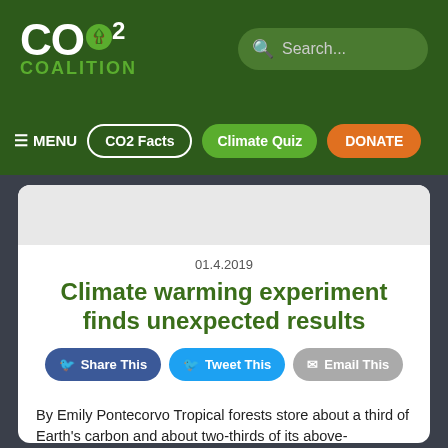[Figure (logo): CO2 Coalition logo with tree icon and green text on dark green background]
[Figure (screenshot): Search bar with magnifying glass icon showing 'Search...' placeholder text]
≡ MENU   CO2 Facts   Climate Quiz   DONATE
01.4.2019
Climate warming experiment finds unexpected results
Share This   Tweet This   Email This
By Emily Pontecorvo Tropical forests store about a third of Earth's carbon and about two-thirds of its above-